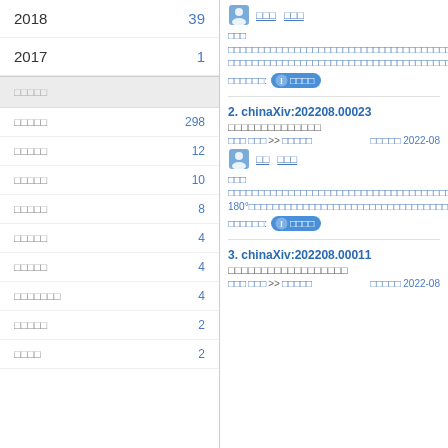2018   39
2017   1
□□□□□
□□□□□   298
□□□□□   12
□□□□□   10
□□□□□   8
□□□□□   4
□□□□□   4
□□□□□□□   4
□□□□□   2
□□□□   2
□□ □□□
□□□ □□□□□□□□□□□□□□□□□□□□□□□□□□□□□□□□□□□□□□□□□□□□□□□□□□□□□□□□□□□□□□□□□□□□□□□□□□□□□□□□□□□□□□□□□□□□□□□□□□□□□□□□□□□□□□□□□□□□□□□□□□□□□□□□□□□□□□□□□□□□□□□□□□□□□□□□□□□□□□□□□□□□□□□□□□□□□□□□□□□□□□□□□□□□□□□□□□□□□□□□□□□□□□□□□□□□□□□□□□□□□□□□□□□□□□□□□□□□□□□□□□□□□□□□□□□□□□□□
□□□□□□: □□□□
2. chinaXiv:202208.00023
□□□□□□□□□□□□□□
□□□ □□□ >> □□□□□   □□□□□ 2022-08
□□ □□□
□□□ □□□□□□□□□□□□□□□□□□□□□□□□□□□□□□□□□□□□□□□□□□□□□□□□□□□□□□□□□□□□□□□□□□□□□□□□□□□□□□□□□□□□□□□□□□□□□□□□□□□□□□□□□□□□□□□□□□□□□□□□□□□□□□□□□□□□□□□□□□□□□□□□□□□□□□□□□□□□□□□□□□□□□□□□□□□□□□□□□□□□□□
180°□□□□□□□□□□□□□□□□□□□□□□□□□□□□□□□□□□□□□□□□□□□□□□□□□□□□□□□□□□□□□□□□□□□□□□□□□□□□□□□□□□□□□□□□□□□□□□□□□□□□□□□□□□□□□□□□□□□□□□□□□□□□□□□□□□□□□□□□□□□□□□□□□□□□□□□□□□□□□□□□□□□□□□□□□□□□
□□□□□□: □□□□
3. chinaXiv:202208.00011
□□□□□□□□□□□□□□□□□□
□□□ □□□ >> □□□□□   □□□□□ 2022-08